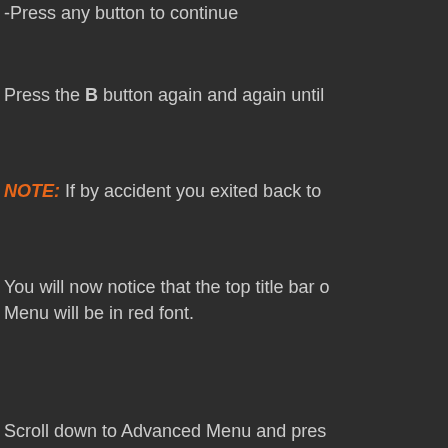-Press any button to continue
Press the B button again and again until
NOTE: If by accident you exited back to
You will now notice that the top title bar of Menu will be in red font.
Scroll down to Advanced Menu and pres
Two items will now be listed. Region Cha Click A on Region Changer.
A prompt about brick information will app
You will see this message highlighted in This means you're semi-bricked- which w
Navigate down to Preset and click left/rig on Load Preset. You will now see a mess
Now click Save Settings at the very botto